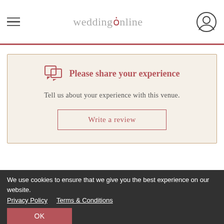weddingsonline
Please share your experience
Tell us about your experience with this venue.
Write a review
Alternative venues
We use cookies to ensure that we give you the best experience on our website. Privacy Policy  Terms & Conditions  OK